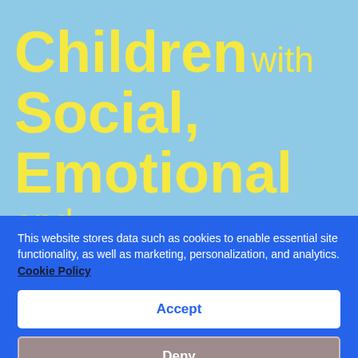HEADING CHOICE
Children with Social, Emotional and Behavioural Difficulties and Communication
This website stores data such as cookies to enable essential site functionality, as well as marketing, personalization, and analytics. Cookie Policy
Accept
Deny